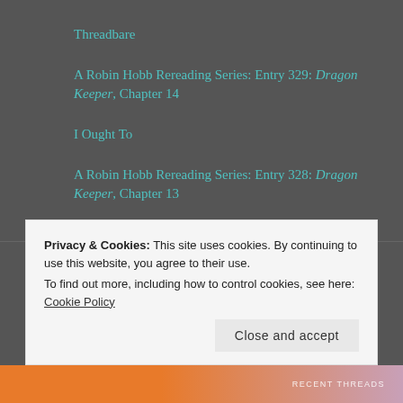Threadbare
A Robin Hobb Rereading Series: Entry 329: Dragon Keeper, Chapter 14
I Ought To
A Robin Hobb Rereading Series: Entry 328: Dragon Keeper, Chapter 13
RECENT COMMENTS
Privacy & Cookies: This site uses cookies. By continuing to use this website, you agree to their use.
To find out more, including how to control cookies, see here: Cookie Policy
Close and accept